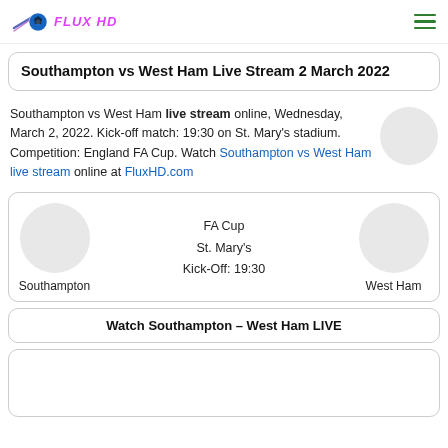FLUX HD
Southampton vs West Ham Live Stream 2 March 2022
Southampton vs West Ham live stream online, Wednesday, March 2, 2022. Kick-off match: 19:30 on St. Mary's stadium. Competition: England FA Cup. Watch Southampton vs West Ham live stream online at FluxHD.com
[Figure (infographic): Match card showing Southampton vs West Ham with team logos (placeholder circles), FA Cup, St. Mary's venue, Kick-Off: 19:30]
Watch Southampton – West Ham LIVE
[Figure (other): Empty white card placeholder at the bottom of the page]